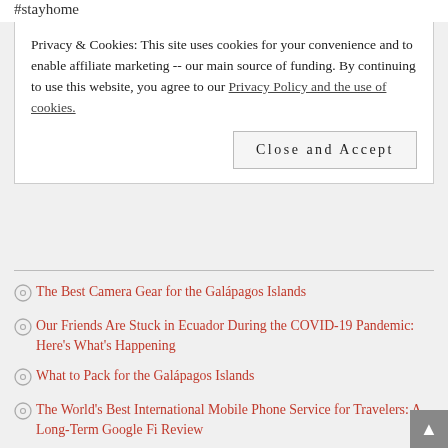#stayhome
Privacy & Cookies: This site uses cookies for your convenience and to enable affiliate marketing -- our main source of funding. By continuing to use this website, you agree to our Privacy Policy and the use of cookies.
The Best Camera Gear for the Galápagos Islands
Our Friends Are Stuck in Ecuador During the COVID-19 Pandemic: Here's What's Happening
What to Pack for the Galápagos Islands
The World's Best International Mobile Phone Service for Travelers: A Long-Term Google Fi Review
Baltra vs. San Cristóbal: Which Galápagos Island is best to fly into?